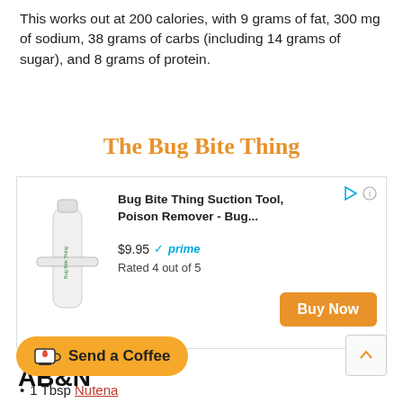This works out at 200 calories, with 9 grams of fat, 300 mg of sodium, 38 grams of carbs (including 14 grams of sugar), and 8 grams of protein.
The Bug Bite Thing
[Figure (infographic): Amazon affiliate advertisement box for 'Bug Bite Thing Suction Tool, Poison Remover - Bug...' priced at $9.95 with prime checkmark, rated 4 out of 5, with a Buy Now button. Shows a white cylindrical product image on the left.]
AB&N
1 Slice Pepperidge Farm Hearty White
[Figure (infographic): Send a Coffee button - yellow/orange pill-shaped button with a coffee cup icon and heart, labeled 'Send a Coffee']
1 Tbsp Nutena